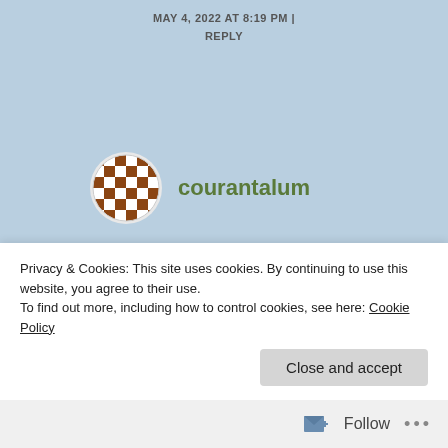MAY 4, 2022 AT 8:19 PM | REPLY
courantalum
Five years? Say it ain't so. Where does the time go? Happy anniversary!
Privacy & Cookies: This site uses cookies. By continuing to use this website, you agree to their use.
To find out more, including how to control cookies, see here: Cookie Policy
Close and accept
Follow